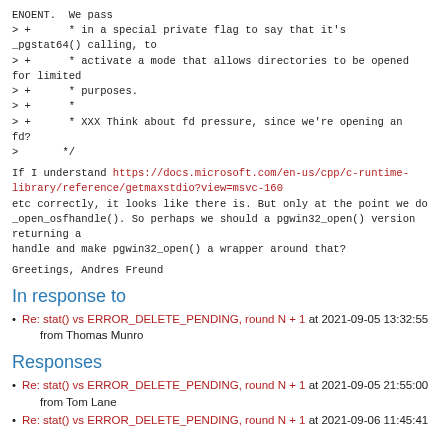ENOENT. We pass
> +      * in a special private flag to say that it's _pgstat64() calling, to
> +      * activate a mode that allows directories to be opened for limited
> +      * purposes.
> +      *
> +      * XXX Think about fd pressure, since we're opening an fd?
>       */
If I understand https://docs.microsoft.com/en-us/cpp/c-runtime-library/reference/getmaxstdio?view=msvc-160 etc correctly, it looks like there is. But only at the point we do _open_osfhandle(). So perhaps we should a pgwin32_open() version returning a handle and make pgwin32_open() a wrapper around that?
Greetings,

Andres Freund
In response to
Re: stat() vs ERROR_DELETE_PENDING, round N + 1 at 2021-09-05 13:32:55 from Thomas Munro
Responses
Re: stat() vs ERROR_DELETE_PENDING, round N + 1 at 2021-09-05 21:55:00 from Tom Lane
Re: stat() vs ERROR_DELETE_PENDING, round N + 1 at 2021-09-06 11:45:41